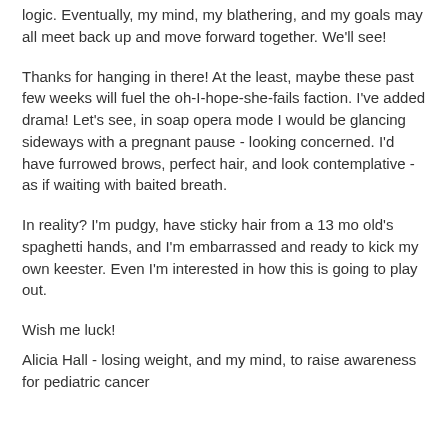logic. Eventually, my mind, my blathering, and my goals may all meet back up and move forward together. We'll see!
Thanks for hanging in there! At the least, maybe these past few weeks will fuel the oh-I-hope-she-fails faction. I've added drama! Let's see, in soap opera mode I would be glancing sideways with a pregnant pause - looking concerned. I'd have furrowed brows, perfect hair, and look contemplative - as if waiting with baited breath.
In reality? I'm pudgy, have sticky hair from a 13 mo old's spaghetti hands, and I'm embarrassed and ready to kick my own keester. Even I'm interested in how this is going to play out.
Wish me luck!
Alicia Hall - losing weight, and my mind, to raise awareness for pediatric cancer